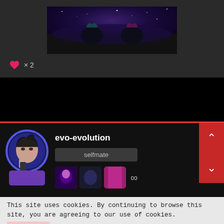[Figure (photo): A screenshot from an anime or music video showing two female characters viewed from behind inside a car, looking at a starry cosmic sky through the windshield. Purple and dark tones.]
× 2
[Figure (screenshot): Black bar / video player area]
[Figure (screenshot): User profile card on a dark website. Shows avatar of an anime-style female character with blue glowing circle, username 'evo-evolution', badge 'selfmate', and thumbnail images of K-pop style content. Red navigation arrows on right side.]
This site uses cookies. By continuing to browse this site, you are agreeing to our use of cookies.
More D...
[Figure (screenshot): Advertisement banner for Tally app. Dark teal background. Logo shows 'n tally'. Headline: 'Fast credit card payoff'. Blue 'Download Now →' button. Help and close icons in top right.]